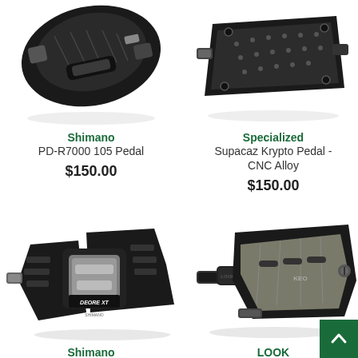[Figure (photo): Shimano PD-R7000 105 road bike pedal, black, viewed from above at an angle, partially cropped at top]
Shimano
PD-R7000 105 Pedal
$150.00
[Figure (photo): Specialized Supacaz Krypto Pedal CNC Alloy, dark/black platform pedal, viewed from above at an angle, partially cropped at top]
Specialized
Supacaz Krypto Pedal - CNC Alloy
$150.00
[Figure (photo): Shimano Deore XT mountain bike pedal, black and silver, SPD clipless pedal viewed from side angle]
Shimano
Deore XT M8100 Pedal (partial, cropped at bottom)
[Figure (photo): LOOK Keo road bike pedal, black with grey/titanium plate, viewed from side angle]
LOOK
(partial, cropped at bottom)